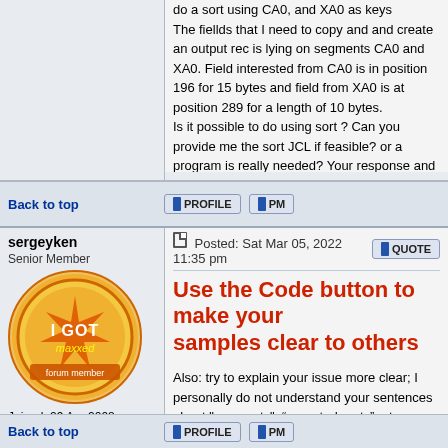do a sort using CA0, and XA0 as keys The fiellds that I need to copy and and create an output rec is lying on segments CA0 and XA0. Field interested from CA0 is in position 196 for 15 bytes and field from XA0 is at position 289 for a length of 10 bytes. Is it possible to do using sort ? Can you provide me the sort JCL if feasible? or a program is really needed? Your response and time taken will be highly appreciated.
Back to top
[Figure (other): PROFILE button]
[Figure (other): PM button]
sergeyken
Senior Member
[Figure (illustration): I GOT maxxed badge - orange circle with star and text]
Joined: 29 Apr 2008
Posts: 1544
Posted: Sat Mar 05, 2022 11:35 pm
Use the Code button to make your samples clear to others
Also: try to explain your issue more clear; I personally do not understand your sentences about "segments", “repeated parts", etc.
What does it mean: “using CA0 and XA0 as keys”???

Provide clear examples.

If not, do not expect any answer.
Back to top